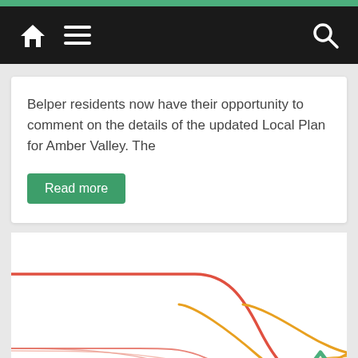Navigation bar with home icon, menu icon, and search icon
Belper residents now have their opportunity to comment on the details of the updated Local Plan for Amber Valley. The
Read more
[Figure (continuous-plot): Partial view of a line/flow diagram showing curved red-orange and orange lines converging and diverging, resembling a road or river network map]